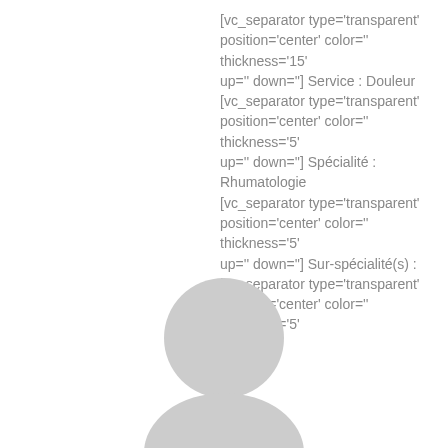[vc_separator type='transparent' position='center' color='' thickness='15' up='' down=''] Service : Douleur [vc_separator type='transparent' position='center' color='' thickness='5' up='' down=''] Spécialité : Rhumatologie [vc_separator type='transparent' position='center' color='' thickness='5' up='' down=''] Sur-spécialité(s) : [vc_separator type='transparent' position='center' color='' thickness='5' up=''...
[Figure (illustration): Gray placeholder avatar silhouette (rounded head shape) centered at the bottom of the page]